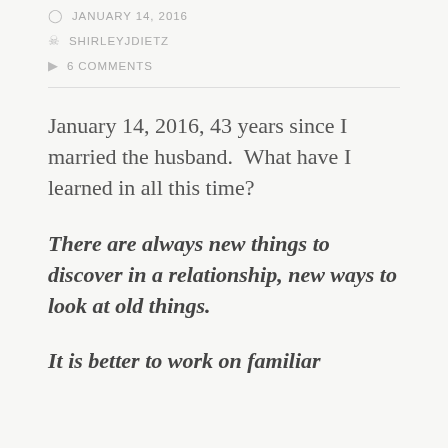JANUARY 14, 2016
SHIRLEYJDIETZ
6 COMMENTS
January 14, 2016, 43 years since I married the husband.  What have I learned in all this time?
There are always new things to discover in a relationship, new ways to look at old things.
It is better to work on familiar